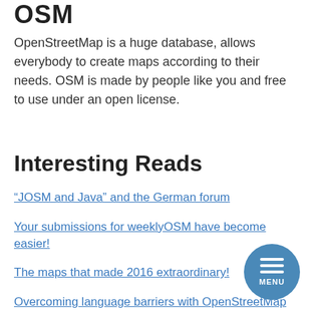OSM
OpenStreetMap is a huge database, allows everybody to create maps according to their needs. OSM is made by people like you and free to use under an open license.
Interesting Reads
“JOSM and Java” and the German forum
Your submissions for weeklyOSM have become easier!
The maps that made 2016 extraordinary!
Overcoming language barriers with OpenStreetMap
WP OSM Plugin – a free WordPress plugin for a free map